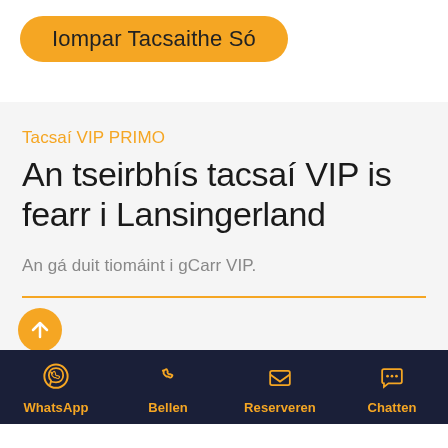Iompar Tacsaithe Só
Tacsaí VIP PRIMO
An tseirbhís tacsaí VIP is fearr i Lansingerland
An gá duit tiomáint i gCarr VIP.
[Figure (infographic): Orange upward arrow button (scroll to top)]
[Figure (infographic): Bottom navigation bar with WhatsApp, Bellen, Reserveren, Chatten icons in orange on dark navy background]